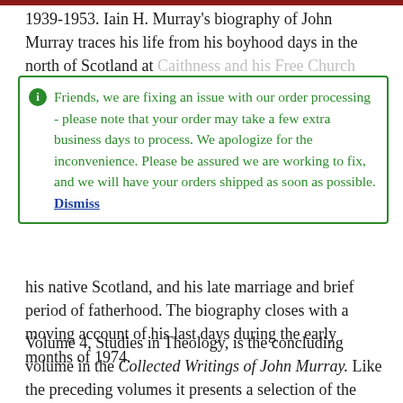1939-1953. Iain H. Murray's biography of John Murray traces his life from his boyhood days in the north of Scotland at [faded text overlaid by notice]
Friends, we are fixing an issue with our order processing - please note that your order may take a few extra business days to process. We apologize for the inconvenience. Please be assured we are working to fix, and we will have your orders shipped as soon as possible. Dismiss
his native Scotland, and his late marriage and brief period of fatherhood. The biography closes with a moving account of his last days during the early months of 1974.
Volume 4, Studies in Theology, is the concluding volume in the Collected Writings of John Murray. Like the preceding volumes it presents a selection of the finest work, produced mainly during his long and distinguished ministry as Professor of Systematic Theology at Westminster Theological Seminary, Philadelphia. Volume 4 includes articles dealing with several areas of doctrine which lay close to Murray's heart. Among them is the hitherto unpublished